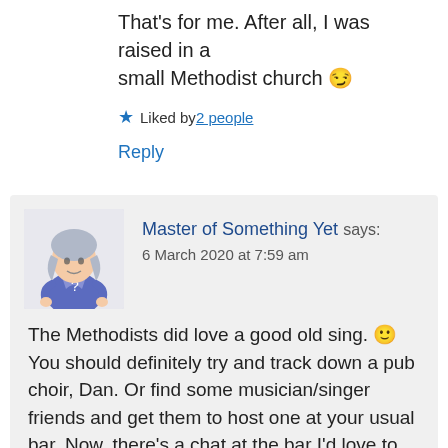That's for me. After all, I was raised in a small Methodist church 😏
★ Liked by 2 people
Reply
[Figure (illustration): Avatar illustration of a cartoon woman with blue/purple clothing]
Master of Something Yet says:
6 March 2020 at 7:59 am
The Methodists did love a good old sing. 🙂 You should definitely try and track down a pub choir, Dan. Or find some musician/singer friends and get them to host one at your usual bar. Now, there's a chat at the bar I'd love to read about. 😉